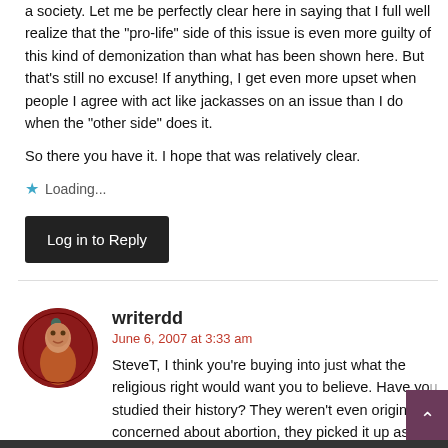a society. Let me be perfectly clear here in saying that I full well realize that the "pro-life" side of this issue is even more guilty of this kind of demonization than what has been shown here. But that's still no excuse! If anything, I get even more upset when people I agree with act like jackasses on an issue than I do when the "other side" does it.
So there you have it. I hope that was relatively clear.
★ Loading...
Log in to Reply
writerdd
June 6, 2007 at 3:33 am
SteveT, I think you're buying into just what the religious right would want you to believe. Have you studied their history? They weren't even originally concerned about abortion, they picked it up as a